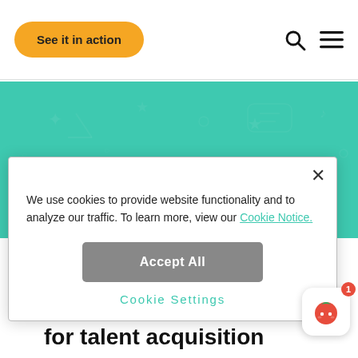See it in action
[Figure (screenshot): Teal/green background banner with WhatsApp-like icon and decorative pattern elements]
We use cookies to provide website functionality and to analyze our traffic. To learn more, view our Cookie Notice.
Accept All
Cookie Settings
for talent acquisition